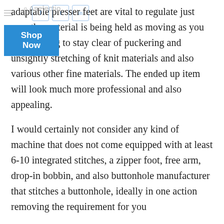adaptable presser feet are vital to regulate just how the material is being held as moving as you are stitching to stay clear of puckering and unsightly stretching of knit materials and also various other fine materials. The ended up item will look much more professional and also appealing.
I would certainly not consider any kind of machine that does not come equipped with at least 6-10 integrated stitches, a zipper foot, free arm, drop-in bobbin, and also buttonhole manufacturer that stitches a buttonhole, ideally in one action removing the requirement for you to rotate the fabric, as well as ensure the dial